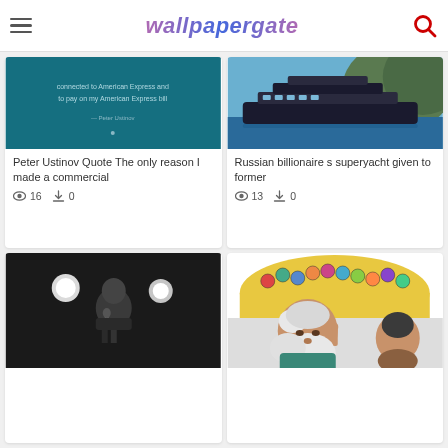wallpapergate
[Figure (screenshot): Teal/dark background with text about American Express commercial]
Peter Ustinov Quote The only reason I made a commercial
16  0
[Figure (photo): Large luxury superyacht on water with mountains in background]
Russian billionaire s superyacht given to former
13  0
[Figure (photo): Black and white photo of man singing into microphone on stage]
[Figure (illustration): Illustrated old man with white beard with crowd of people in background thought bubble]